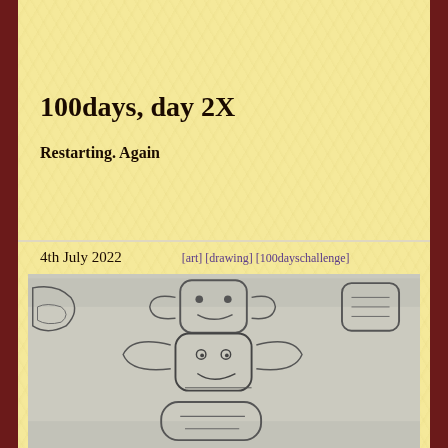100days, day 2X
Restarting. Again
4th July 2022   [art] [drawing] [100dayschallenge]
[Figure (photo): A pencil sketch/drawing on paper showing cartoon-like characters or shapes with rounded rectangular outlines, viewed from above on a light gray paper surface.]